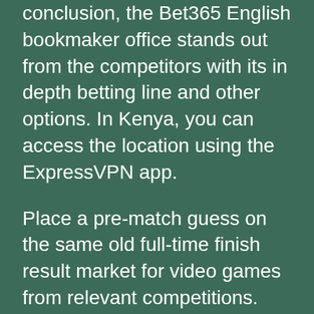conclusion, the Bet365 English bookmaker office stands out from the competitors with its in depth betting line and other options. In Kenya, you can access the location using the ExpressVPN app.
Place a pre-match guess on the same old full-time finish result market for video games from relevant competitions. You can guess on all the biggest competitions and main tournaments such as a outcome of the World Cup, which is able to happen inside the winter of 2022. With tens of tens of millions of shoppers worldwide, it's clear to see that bet365 is probably going